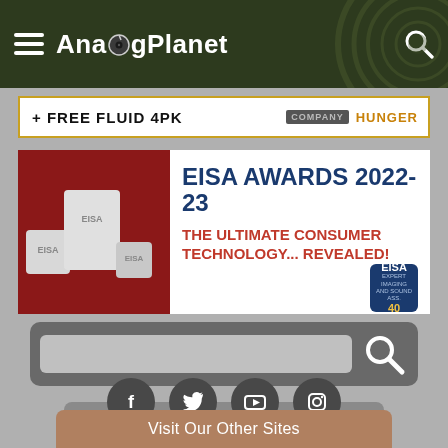AnalogPlanet
[Figure (screenshot): Advertisement banner: + FREE fluid 4pk, COMPANY HUNGER]
[Figure (screenshot): EISA Awards 2022-23 advertisement banner: The Ultimate Consumer Technology... Revealed!]
[Figure (screenshot): Search bar with search button]
Switch to Desktop Theme
[Figure (screenshot): Social media icons: Facebook, Twitter, YouTube, Instagram]
Visit Our Other Sites